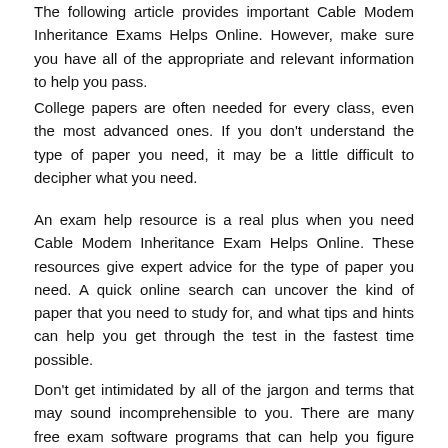The following article provides important Cable Modem Inheritance Exams Helps Online. However, make sure you have all of the appropriate and relevant information to help you pass.
College papers are often needed for every class, even the most advanced ones. If you don't understand the type of paper you need, it may be a little difficult to decipher what you need.
An exam help resource is a real plus when you need Cable Modem Inheritance Exam Helps Online. These resources give expert advice for the type of paper you need. A quick online search can uncover the kind of paper that you need to study for, and what tips and hints can help you get through the test in the fastest time possible.
Don't get intimidated by all of the jargon and terms that may sound incomprehensible to you. There are many free exam software programs that can help you figure out the type of paper you need to take and the correct method of learning about it.